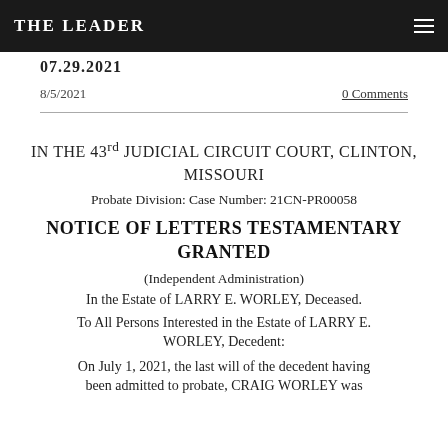THE LEADER
07.29.2021
8/5/2021    0 Comments
IN THE 43rd JUDICIAL CIRCUIT COURT, CLINTON, MISSOURI
Probate Division: Case Number: 21CN-PR00058
NOTICE OF LETTERS TESTAMENTARY GRANTED
(Independent Administration)
In the Estate of LARRY E. WORLEY, Deceased.
To All Persons Interested in the Estate of LARRY E. WORLEY, Decedent:
On July 1, 2021, the last will of the decedent having been admitted to probate, CRAIG WORLEY was